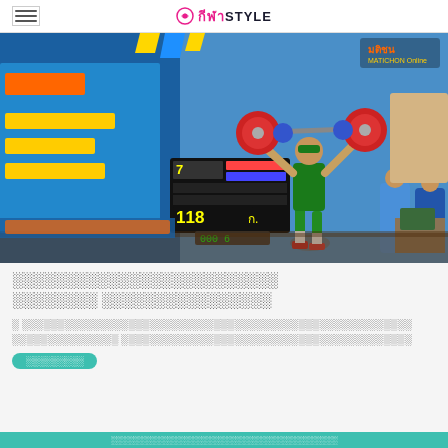กีฬาSTYLE
[Figure (photo): Weightlifter competing at a Thai national weightlifting competition, lifting barbell overhead. Scoreboard shows 118kg. Banner shows year 2565 and week 3. Matichon Online watermark visible.]
Thai language headline about weightlifting competition
Thai language article body text about weightlifting competition results
Read more tag pill in teal color